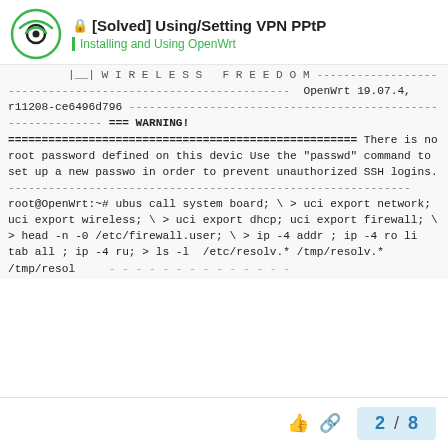[Solved] Using/Setting VPN PPtP — Installing and Using OpenWrt
|__| W I R E L E S S   F R E E D O M
------------------------------------------------------------
OpenWrt 19.07.4, r11208-ce6496d796
------------------------------------------------------------
=== WARNING! ====================================================
There is no root password defined on this device.
Use the "passwd" command to set up a new password
in order to prevent unauthorized SSH logins.
------------------------------------------------------------
root@OpenWrt:~# ubus call system board; \
> uci export network; uci export wireless; \
> uci export dhcp; uci export firewall; \
> head -n -0 /etc/firewall.user; \
> ip -4 addr ; ip -4 ro li tab all ; ip -4 ru;
> ls -l  /etc/resolv.* /tmp/resolv.* /tmp/resol
2 / 8